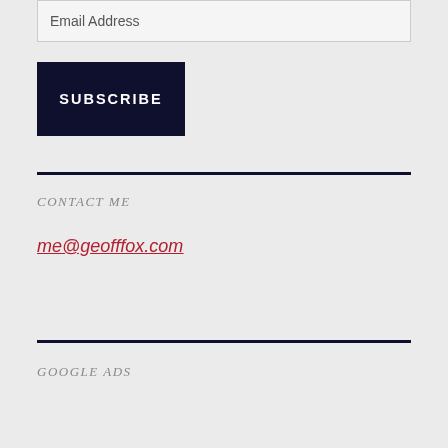Email Address
SUBSCRIBE
CONTACT ME
me@geofffox.com
GOOGLE ADS